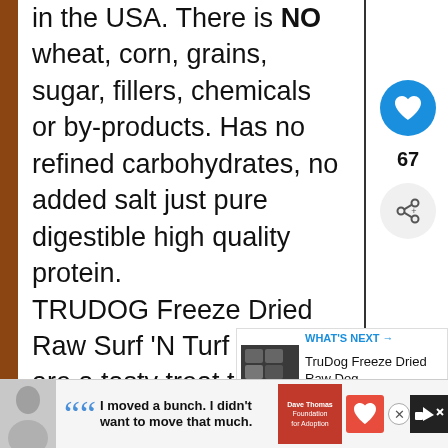in the USA. There is NO wheat, corn, grains, sugar, fillers, chemicals or by-products. Has no refined carbohydrates, no added salt just pure digestible high quality protein.
TRUDOG Freeze Dried Raw Surf 'N Turf treats are a tasty treat that is rich in CoQ10, Omega 3's and oil soluble
[Figure (screenshot): What's Next panel showing TruDog Freeze Dried Raw Dog thumbnail and title]
[Figure (infographic): Advertisement banner: Dave Thomas Foundation for Adoption quote 'I moved a bunch. I didn't want to move that much.']